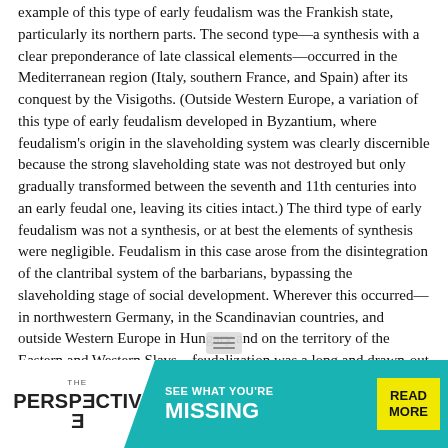example of this type of early feudalism was the Frankish state, particularly its northern parts. The second type—a synthesis with a clear preponderance of late classical elements—occurred in the Mediterranean region (Italy, southern France, and Spain) after its conquest by the Visigoths. (Outside Western Europe, a variation of this type of early feudalism developed in Byzantium, where feudalism's origin in the slaveholding system was clearly discernible because the strong slaveholding state was not destroyed but only gradually transformed between the seventh and 11th centuries into an early feudal one, leaving its cities intact.) The third type of early feudalism was not a synthesis, or at best the elements of synthesis were negligible. Feudalism in this case arose from the disintegration of the clantribal system of the barbarians, bypassing the slaveholding stage of social development. Wherever this occurred—in northwestern Germany, in the Scandinavian countries, and outside Western Europe in Hungary and on the territory of the Eastern and Western Slavs—feudalization was a long and drawn-out process.
MATURE FEUDALISM. The feudalization of the base and of all elements of the superstructure of European society was completed between the 11th and 15th centuries. The basic institutions: large-scale feudal landownership, the
[Figure (other): Advertisement banner: 'THE PERSPECTIVE — SEE WHAT YOU'RE MISSING — READ MORE' with teal background and yellow button]